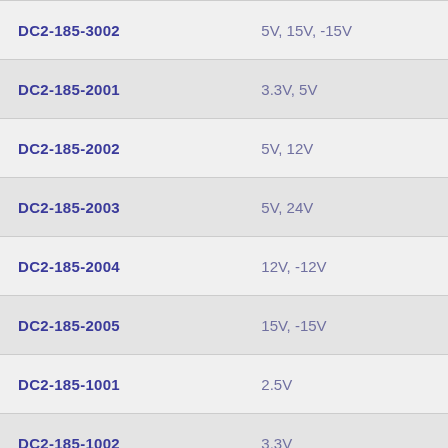| Part Number | Voltage |
| --- | --- |
| DC2-185-3002 | 5V, 15V, -15V |
| DC2-185-2001 | 3.3V, 5V |
| DC2-185-2002 | 5V, 12V |
| DC2-185-2003 | 5V, 24V |
| DC2-185-2004 | 12V, -12V |
| DC2-185-2005 | 15V, -15V |
| DC2-185-1001 | 2.5V |
| DC2-185-1002 | 3.3V |
| DC2-185-1003 | 5V |
| DC2-185-1004 | 12V |
| Dc2-185-1005 | 15V |